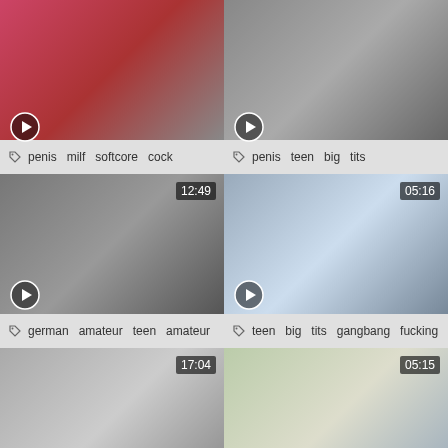[Figure (screenshot): Video thumbnail grid showing adult video content with tags and durations]
penis  milf  softcore  cock
penis  teen  big  tits
12:49 | german  amateur  teen  amateur
05:16 | teen  big  tits  gangbang  fucking
17:04 | oral  cuckold  finger
05:15 | teen  orgies  teen  big  tits
04:07 | (partial row)
(partial row right)